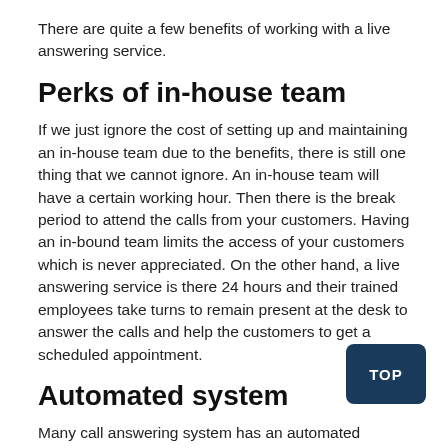There are quite a few benefits of working with a live answering service.
Perks of in-house team
If we just ignore the cost of setting up and maintaining an in-house team due to the benefits, there is still one thing that we cannot ignore. An in-house team will have a certain working hour. Then there is the break period to attend the calls from your customers. Having an in-bound team limits the access of your customers which is never appreciated. On the other hand, a live answering service is there 24 hours and their trained employees take turns to remain present at the desk to answer the calls and help the customers to get a scheduled appointment.
Automated system
Many call answering system has an automated syste ad the customers to get an appointment. This happens to be a great idea as the calls are immediately answered. The